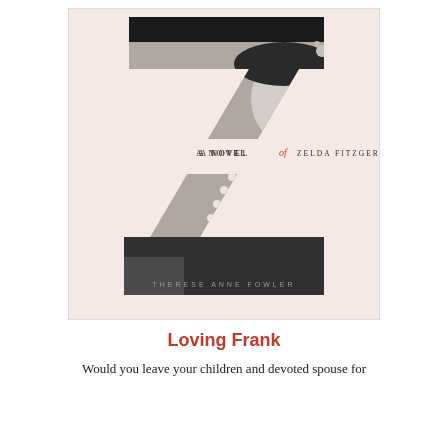[Figure (illustration): Book cover for 'Z: A Novel of Zelda Fitzgerald' by Therese Anne Fowler. Pink background with a large letter Z formed by cutout shapes revealing a black-and-white photo of a 1920s woman wearing a pearl necklace and decorative hat. Text reads 'A NOVEL of ZELDA FITZGERALD' across the middle and 'THERESE ANNE FOWLER' at the bottom.]
Loving Frank
Would you leave your children and devoted spouse for